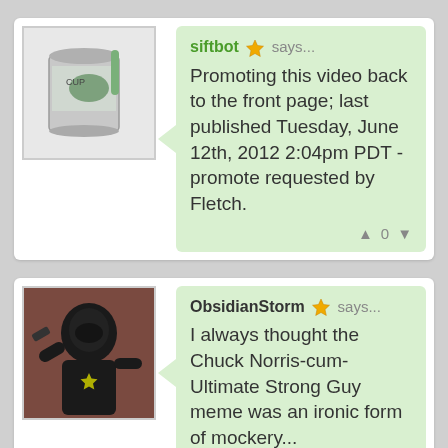[Figure (screenshot): Comment thread screenshot with two user comments. First comment by 'siftbot' with a can/cup avatar and a green speech bubble saying: 'Promoting this video back to the front page; last published Tuesday, June 12th, 2012 2:04pm PDT - promote requested by Fletch.' with vote arrows showing 0. Second comment by 'ObsidianStorm' with a dark avatar and green bubble saying: 'I always thought the Chuck Norris-cum-Ultimate Strong Guy meme was an ironic form of mockery...']